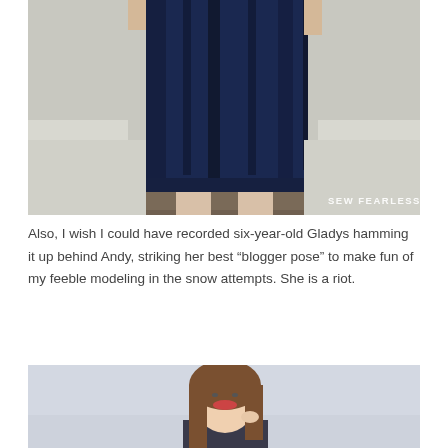[Figure (photo): Close-up photo of a person wearing a dark navy blue velvet skirt/dress, standing outdoors in snowy conditions. Only the torso and legs are visible. Watermark 'SEW FEARLESS' in white text at bottom right.]
Also, I wish I could have recorded six-year-old Gladys hamming it up behind Andy, striking her best “blogger pose” to make fun of my feeble modeling in the snow attempts. She is a riot.
[Figure (photo): Photo of a smiling woman with long brown hair, wearing a dark top, photographed against a light grey/white background outdoors in winter.]